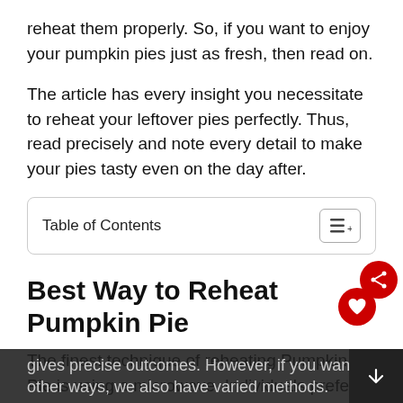reheat them properly. So, if you want to enjoy your pumpkin pies just as fresh, then read on.
The article has every insight you necessitate to reheat your leftover pies perfectly. Thus, read precisely and note every detail to make your pies tasty even on the day after.
Table of Contents
Best Way to Reheat Pumpkin Pie
The finest technique of reheating Pumpkin Pie is using a microwave. Individuals prefer this method because it is simple and quick. Also, it gives precise outcomes. However, if you want other ways, we also have varied methods.